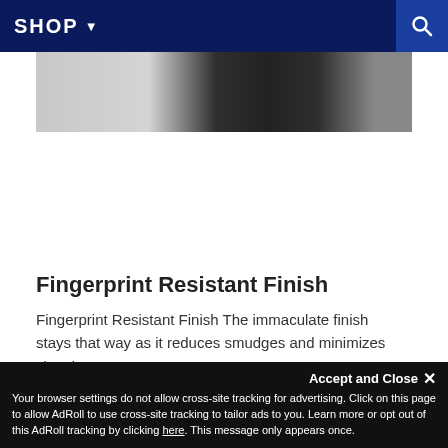SHOP ▾
[Figure (photo): Partial product image showing what appears to be a dark-colored appliance or electronics device]
Fingerprint Resistant Finish
Fingerprint Resistant Finish The immaculate finish stays that way as it reduces smudges and minimizes cleaning.
Welcome! My name is Dan Nantais, owner of Milcarsky's. How can I assist you today?
Your browser settings do not allow cross-site tracking for advertising. Click on this page to allow AdRoll to use cross-site tracking to tailor ads to you. Learn more or opt out of this AdRoll tracking by clicking here. This message only appears once.